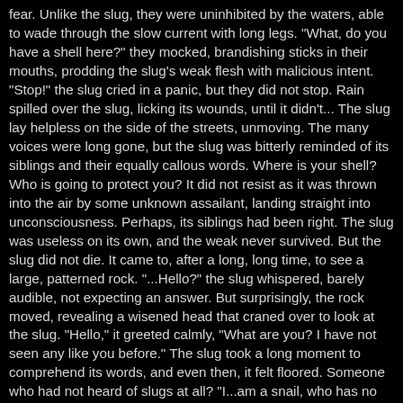fear. Unlike the slug, they were uninhibited by the waters, able to wade through the slow current with long legs. "What, do you have a shell here?" they mocked, brandishing sticks in their mouths, prodding the slug's weak flesh with malicious intent. "Stop!" the slug cried in a panic, but they did not stop. Rain spilled over the slug, licking its wounds, until it didn't... The slug lay helpless on the side of the streets, unmoving. The many voices were long gone, but the slug was bitterly reminded of its siblings and their equally callous words. Where is your shell? Who is going to protect you? It did not resist as it was thrown into the air by some unknown assailant, landing straight into unconsciousness. Perhaps, its siblings had been right. The slug was useless on its own, and the weak never survived. But the slug did not die. It came to, after a long, long time, to see a large, patterned rock. "...Hello?" the slug whispered, barely audible, not expecting an answer. But surprisingly, the rock moved, revealing a wisened head that craned over to look at the slug. "Hello," it greeted calmly, "What are you? I have not seen any like you before." The slug took a long moment to comprehend its words, and even then, it felt floored. Someone who had not heard of slugs at all? "I...am a snail, who has no shell, seeking a place of suitable shells that will fit me, like the shells in the place of suitable shells near my home that fit my kin." "...Is that so?" the other asked. Its eyes went wide. "I cannot understand, for this shell of mine has been mine ever since my birth. I can, however, understand the need for a shell to watch your back and hide you away from the world, if that is why you wish for a shell." "It